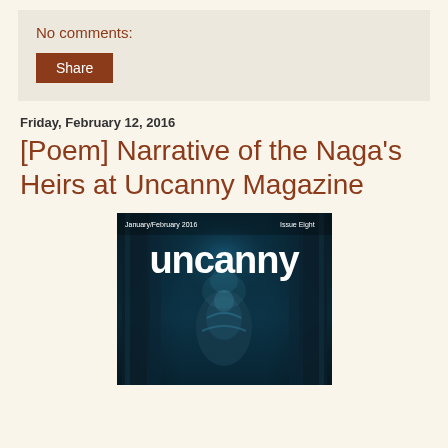No comments:
Share
Friday, February 12, 2016
[Poem] Narrative of the Naga's Heirs at Uncanny Magazine
[Figure (photo): Cover of Uncanny Magazine, Issue Eight, January/February 2016, showing a dark blue fantasy scene with a figure and the large white 'uncanny' text.]